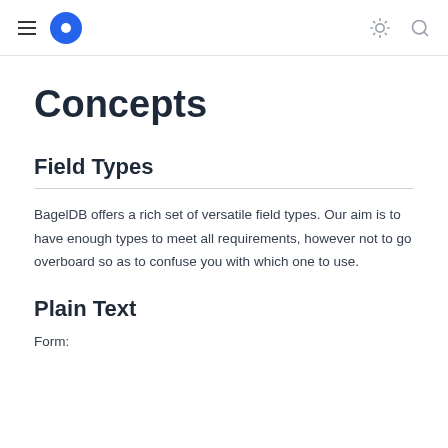BagelDB navigation bar with hamburger menu, logo, sun/theme icon, and search icon
Concepts
Field Types
BagelDB offers a rich set of versatile field types. Our aim is to have enough types to meet all requirements, however not to go overboard so as to confuse you with which one to use.
Plain Text
Form: